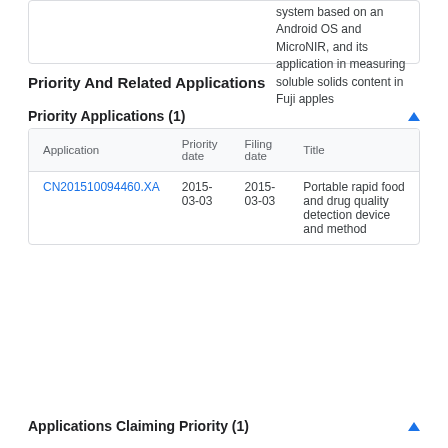system based on an Android OS and MicroNIR, and its application in measuring soluble solids content in Fuji apples
Priority And Related Applications
Priority Applications (1)
| Application | Priority date | Filing date | Title |
| --- | --- | --- | --- |
| CN201510094460.XA | 2015-03-03 | 2015-03-03 | Portable rapid food and drug quality detection device and method |
Applications Claiming Priority (1)